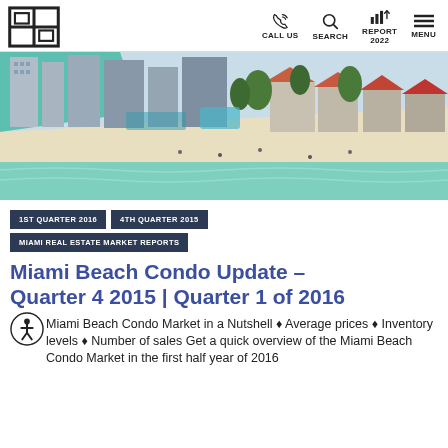Logo | CALL US | SEARCH | REPORT 2022 | MENU
[Figure (photo): Aerial view of Miami Beach condos and coastline with green ocean water, sandy beach, and high-rise buildings]
1ST QUARTER 2016
4TH QUARTER 2015
MIAMI REAL ESTATE MARKET REPORTS
Miami Beach Condo Update – Quarter 4 2015 | Quarter 1 of 2016
Miami Beach Condo Market in a Nutshell ♦ Average prices ♦ Inventory levels ♦ Number of sales Get a quick overview of the Miami Beach Condo Market in the first half year of 2016